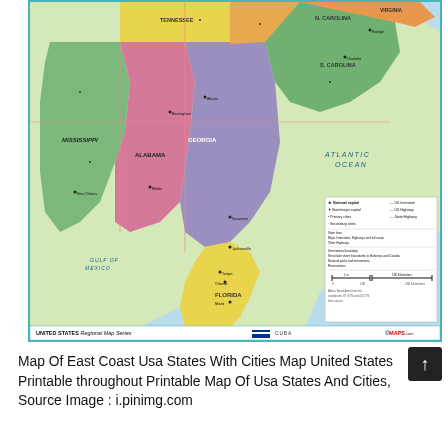[Figure (map): Colored regional map of the eastern United States (Southeast region) showing states with county boundaries, cities, highways, and bodies of water including Atlantic Ocean, Gulf of Mexico, and Bahamas. Map includes a legend box and bottom bar reading 'UNITED STATES Regional Map Series' and '©MAPS.com'.]
Map Of East Coast Usa States With Cities Map United States Printable throughout Printable Map Of Usa States And Cities, Source Image : i.pinimg.com